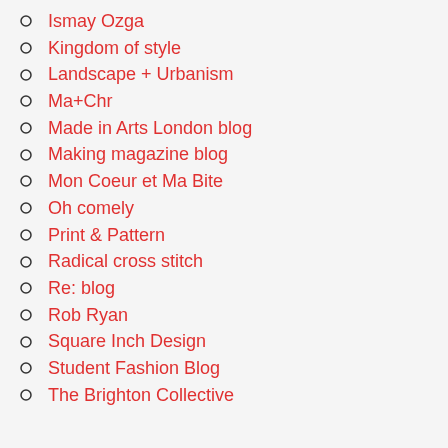Ismay Ozga
Kingdom of style
Landscape + Urbanism
Ma+Chr
Made in Arts London blog
Making magazine blog
Mon Coeur et Ma Bite
Oh comely
Print & Pattern
Radical cross stitch
Re: blog
Rob Ryan
Square Inch Design
Student Fashion Blog
The Brighton Collective